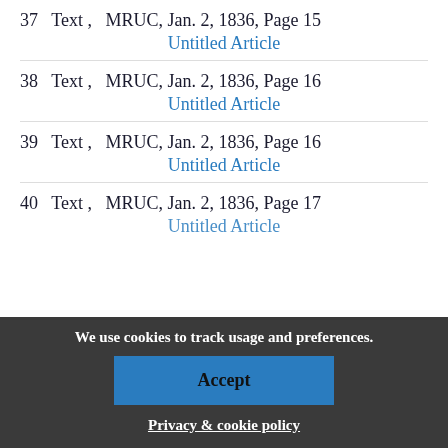37  Text ,  MRUC, Jan. 2, 1836, Page 15
Untitled Article
38  Text ,  MRUC, Jan. 2, 1836, Page 16
Untitled Article
39  Text ,  MRUC, Jan. 2, 1836, Page 16
Untitled Article
40  Text ,  MRUC, Jan. 2, 1836, Page 17
Untitled Article
We use cookies to track usage and preferences.
Accept
Privacy & cookie policy